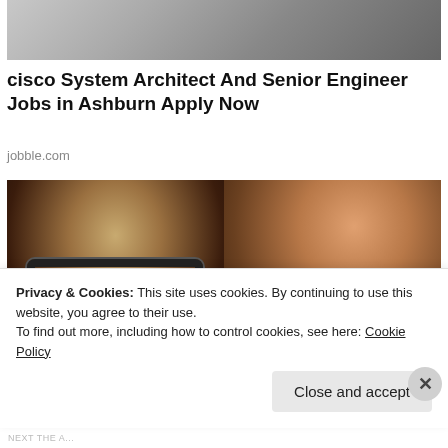[Figure (photo): Partial view of a workspace with laptop and desk items, cropped at top]
cisco System Architect And Senior Engineer Jobs in Ashburn Apply Now
jobble.com
[Figure (photo): Two women side by side: left woman with blonde hair and dark-rimmed glasses, right woman with gray-streaked hair]
Totally Uncool Fashion Trends That Show
Privacy & Cookies: This site uses cookies. By continuing to use this website, you agree to their use.
To find out more, including how to control cookies, see here: Cookie Policy
Close and accept